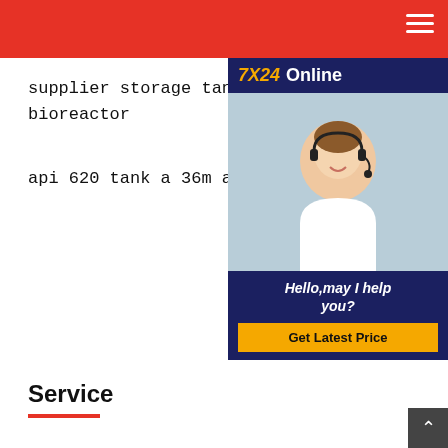supplier storage tank fermentor reactor 800l bioreactor
api 620 tank a 36m a 36
[Figure (photo): Customer service representative with headset, smiling. Banner shows '7X24 Online', text 'Hello,may I help you?' and button 'Get Latest Price' on dark blue background.]
Service
[Figure (screenshot): YouTube video thumbnail showing '3 Axle 40000 42000 45000 60...' with channel icon letter L in red circle, dark video thumbnail with YouTube play button, and three-dot menu icon.]